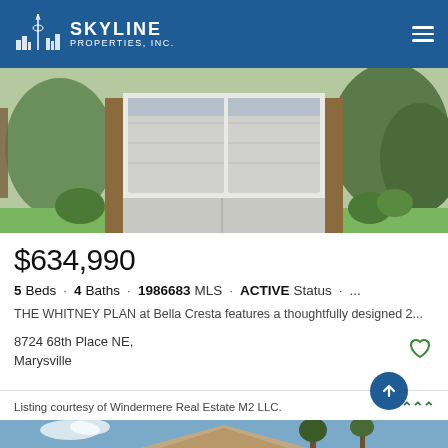SKYLINE PROPERTIES, INC.
[Figure (photo): Exterior photo of a modern home showing a two-car garage with wooden frame accents and landscaping]
$634,990
5 Beds · 4 Baths · 1986683 MLS · ACTIVE Status · ...
THE WHITNEY PLAN at Bella Cresta features a thoughtfully designed 2...
8724 68th Place NE,
Marysville
Listing courtesy of Windermere Real Estate M2 LLC.
[Figure (photo): Partial exterior photo of a home roofline with blue sky and trees in background]